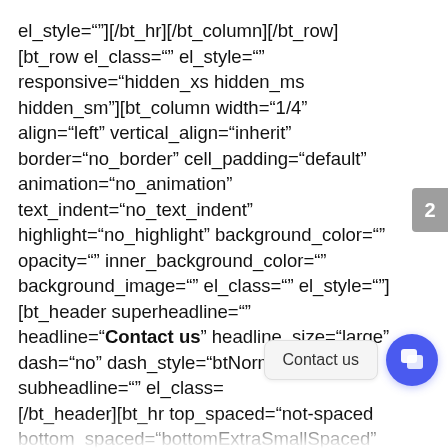el_style=""][/bt_hr][/bt_column][/bt_row][bt_row el_class="" el_style="" responsive="hidden_xs hidden_ms hidden_sm"][bt_column width="1/4" align="left" vertical_align="inherit" border="no_border" cell_padding="default" animation="no_animation" text_indent="no_text_indent" highlight="no_highlight" background_color="" opacity="" inner_background_color="" background_image="" el_class="" el_style=""][bt_header superheadline="" headline="Contact us" headline_size="large" dash="no" dash_style="btNormalDash" subheadline="" el_class= [/bt_header][bt_hr top_spaced="not-spaced bottom_spaced="bottomExtraSmallSpaced"